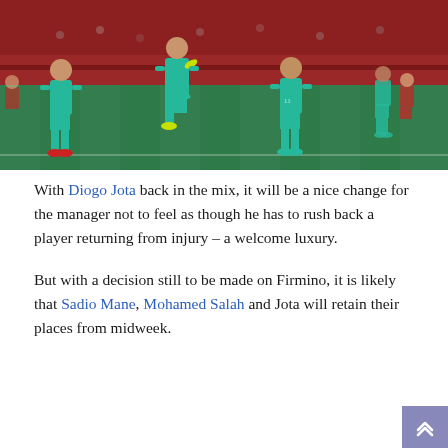[Figure (photo): Liverpool players in teal/aqua away kits celebrating or playing during a match, on a green pitch with red-seated stadium stands visible in the background.]
With Diogo Jota back in the mix, it will be a nice change for the manager not to feel as though he has to rush back a player returning from injury – a welcome luxury.
But with a decision still to be made on Firmino, it is likely that Sadio Mane, Mohamed Salah and Jota will retain their places from midweek.